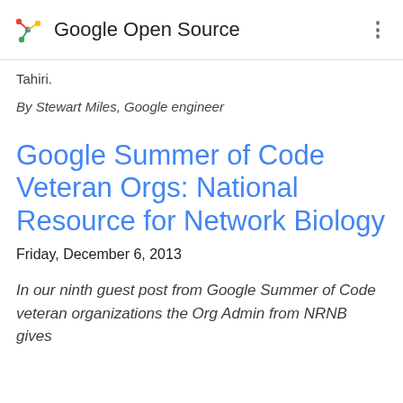Google Open Source
Tahiri.
By Stewart Miles, Google engineer
Google Summer of Code Veteran Orgs: National Resource for Network Biology
Friday, December 6, 2013
In our ninth guest post from Google Summer of Code veteran organizations the Org Admin from NRNB gives